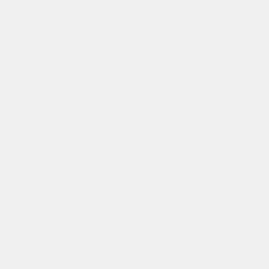Downloads
Sol 161: Mars Hand Lens Imager (MAHLI)
image/jpeg
DOWNLOAD
Embed
Embed this resource by pasting the following code into your website:
<iframe src="https://mars.nasa.gov/raw_images/embd/51563" width="400" height="400"